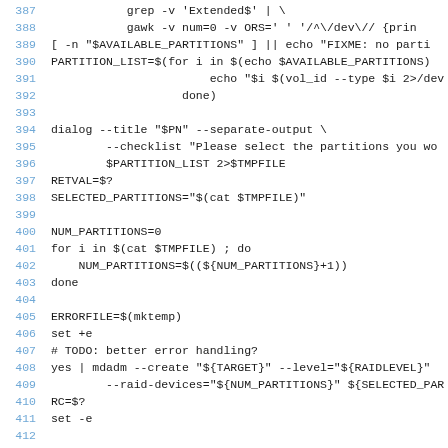[Figure (screenshot): Shell script source code lines 387-413, monospace font, line numbers in blue on left, code in dark/black on white background.]